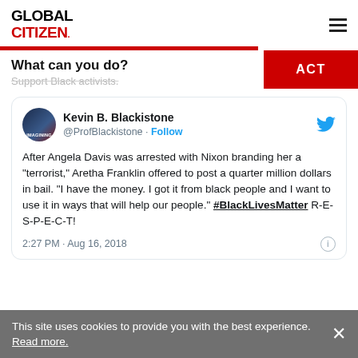GLOBAL CITIZEN
What can you do?
Support Black activists.
[Figure (screenshot): Embedded tweet by Kevin B. Blackistone (@ProfBlackistone) with a Follow button and Twitter bird icon. Tweet text: After Angela Davis was arrested with Nixon branding her a "terrorist," Aretha Franklin offered to post a quarter million dollars in bail. "I have the money. I got it from black people and I want to use it in ways that will help our people." #BlackLivesMatter R-E-S-P-E-C-T! Timestamp: 2:27 PM · Aug 16, 2018]
This site uses cookies to provide you with the best experience. Read more.